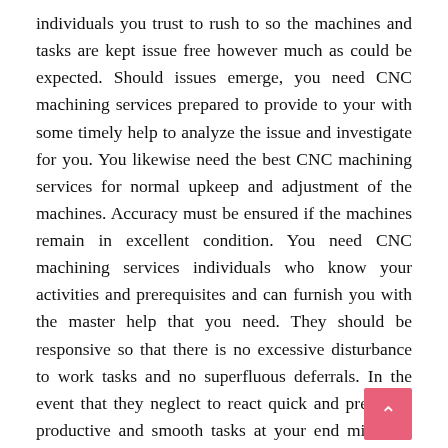individuals you trust to rush to so the machines and tasks are kept issue free however much as could be expected. Should issues emerge, you need CNC machining services prepared to provide to your with some timely help to analyze the issue and investigate for you. You likewise need the best CNC machining services for normal upkeep and adjustment of the machines. Accuracy must be ensured if the machines remain in excellent condition. You need CNC machining services individuals who know your activities and prerequisites and can furnish you with the master help that you need. They should be responsive so that there is no excessive disturbance to work tasks and no superfluous deferrals. In the event that they neglect to react quick and precisely, productive and smooth tasks at your end might be hard to support.

The structure for the item is at first finished by PC.